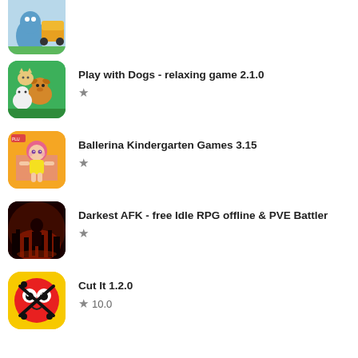[Figure (illustration): Partially visible app icon at top: cartoon blue character near a vehicle, cropped]
[Figure (illustration): App icon: Play with Dogs - cartoon dogs on green background]
Play with Dogs - relaxing game 2.1.0
[Figure (illustration): App icon: Ballerina Kindergarten Games - cartoon girl with pink hair on yellow background]
Ballerina Kindergarten Games 3.15
[Figure (illustration): App icon: Darkest AFK - dark red scene with ruins]
Darkest AFK - free Idle RPG offline & PVE Battler
[Figure (illustration): App icon: Cut It - yellow background with cartoon character and scissors]
Cut It 1.2.0
10.0